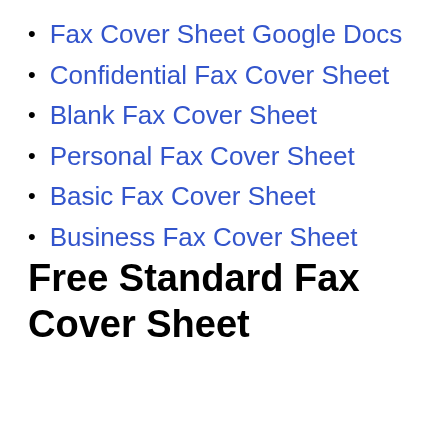Fax Cover Sheet Google Docs
Confidential Fax Cover Sheet
Blank Fax Cover Sheet
Personal Fax Cover Sheet
Basic Fax Cover Sheet
Business Fax Cover Sheet
Free Standard Fax Cover Sheet